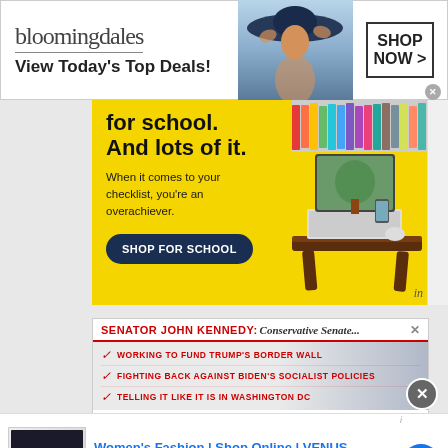[Figure (infographic): Bloomingdales advertisement banner: logo, tagline 'View Today's Top Deals!', model with hat, 'SHOP NOW >' button with close X]
[Figure (infographic): Back to school advertisement on yellow background: text 'for school. And lots of it. When it comes to your checklist, you're an overachiever.' with 'SHOP FOR SCHOOL' button, pencils and laptop on wooden desk tray]
[Figure (infographic): Senator John Kennedy Conservative Senate ad: working to fund Trump's border wall, fighting back against Biden's socialist policies, telling it like it is in Washington DC]
[Figure (infographic): Venus women's fashion online shop ad: 'Women's Fashion | Shop Online | VENUS', 'Shop the best in women's fashion, clothing, swimwear', venus.com, with blue arrow button and summer sale image thumbnail]